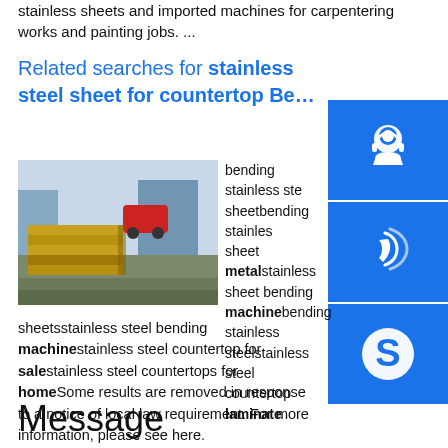stainless sheets and imported machines for carpentering works and painting jobs. ...
Related searches for stainless steel sheet for countertop Be…
[Figure (photo): Stack of metal/steel plates outdoors in an industrial yard with machinery in background]
bending stainless steel sheetbending stainless sheet metalstainless sheet bending machinebending stainless steelstainless steel countertop laminate sheetsstainless steel bending machinestainless steel countertop for salestainless steel countertops for homeSome results are removed in response to a notice of local law requirement. For more information, please see here.
[Figure (illustration): Blue customer service headset icon]
[Figure (illustration): Blue phone/call icon]
[Figure (illustration): Blue Skype icon]
Message